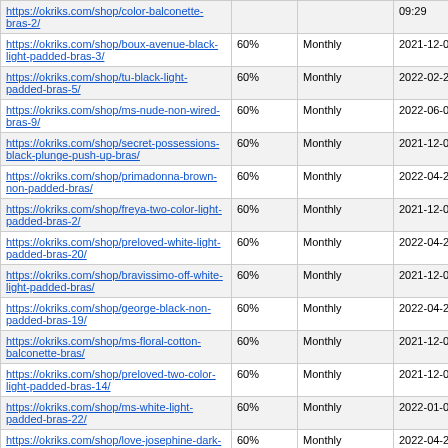| https://okriks.com/shop/color-balconette-bras-2/ |  |  | 09:29 |
| https://okriks.com/shop/boux-avenue-black-light-padded-bras-3/ | 60% | Monthly | 2021-12-02 16:06 |
| https://okriks.com/shop/tu-black-light-padded-bras-5/ | 60% | Monthly | 2022-02-20 22:39 |
| https://okriks.com/shop/ms-nude-non-wired-bras-9/ | 60% | Monthly | 2022-06-07 19:37 |
| https://okriks.com/shop/secret-possessions-black-plunge-push-up-bras/ | 60% | Monthly | 2021-12-02 16:06 |
| https://okriks.com/shop/primadonna-brown-non-padded-bras/ | 60% | Monthly | 2022-04-22 11:10 |
| https://okriks.com/shop/freya-two-color-light-padded-bras-2/ | 60% | Monthly | 2021-12-02 16:06 |
| https://okriks.com/shop/preloved-white-light-padded-bras-20/ | 60% | Monthly | 2022-04-22 18:43 |
| https://okriks.com/shop/bravissimo-off-white-light-padded-bras/ | 60% | Monthly | 2021-12-02 16:06 |
| https://okriks.com/shop/george-black-non-padded-bras-19/ | 60% | Monthly | 2022-04-22 18:32 |
| https://okriks.com/shop/ms-floral-cotton-balconette-bras/ | 60% | Monthly | 2021-12-02 09:29 |
| https://okriks.com/shop/preloved-two-color-light-padded-bras-14/ | 60% | Monthly | 2021-12-02 16:06 |
| https://okriks.com/shop/ms-white-light-padded-bras-22/ | 60% | Monthly | 2022-01-03 08:13 |
| https://okriks.com/shop/love-josephine-dark-grey-mesh-non-padded-bras/ | 60% | Monthly | 2022-04-22 11:10 |
| https://okriks.com/shop/preloved-two-color-light-padded-bras-13/ | 60% | Monthly | 2021-12-16 19:54 |
| https://okriks.com/shop/preloved-patterned-non-padded-bras-10/ | 60% | Monthly | 2022-04-22 11:10 |
| https://okriks.com/shop/preloved-black-light-padded-bras-55/ | 60% | Monthly | 2021-12-02 ... |